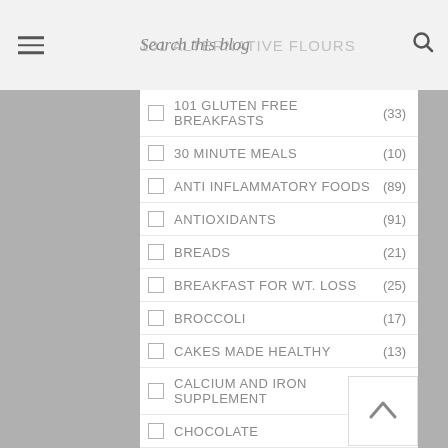Search this blog | 101 ALTERNATIVE FLOURS (49)
101 GLUTEN FREE BREAKFASTS (33)
30 MINUTE MEALS (10)
ANTI INFLAMMATORY FOODS (89)
ANTIOXIDANTS (91)
BREADS (21)
BREAKFAST FOR WT. LOSS (25)
BROCCOLI (17)
CAKES MADE HEALTHY (13)
CALCIUM AND IRON SUPPLEMENT (13)
CHOCOLATE (9)
CHUTNEYS (20)
CURRIES FOR THE WT. CONSCIOUS (31)